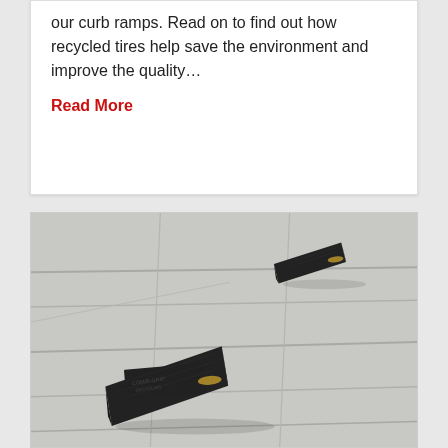our curb ramps. Read on to find out how recycled tires help save the environment and improve the quality…
Read More
[Figure (photo): Outdoor photo of two dark rubber curb ramps placed on a light-coloured stone/concrete pavement surface, photographed at an angle.]